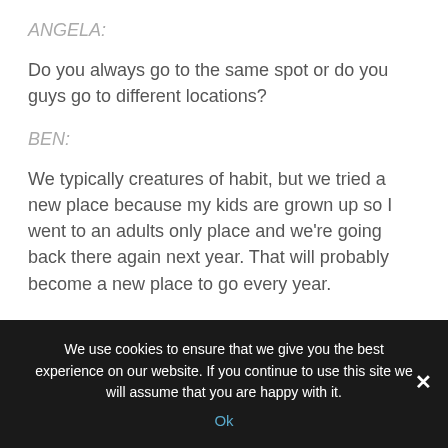ANGELA:
Do you always go to the same spot or do you guys go to different locations?
BEN:
We typically creatures of habit, but we tried a new place because my kids are grown up so I went to an adults only place and we're going back there again next year. That will probably become a new place to go every year.
ANGELA:
The new place super exciting. I was actually just in Fiji at the
We use cookies to ensure that we give you the best experience on our website. If you continue to use this site we will assume that you are happy with it.
Ok